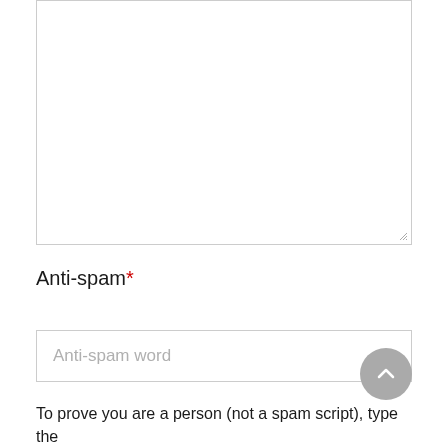[Figure (screenshot): Empty textarea input box with resize handle at bottom-right corner]
Anti-spam*
[Figure (screenshot): Text input field with placeholder text 'Anti-spam word']
[Figure (other): Scroll-to-top circular button with upward chevron arrow]
To prove you are a person (not a spam script), type the